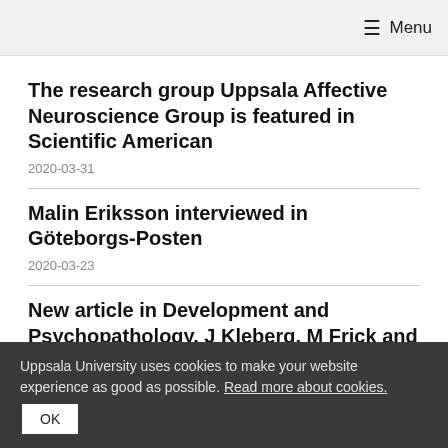☰ Menu
The research group Uppsala Affective Neuroscience Group is featured in Scientific American
2020-03-31
Malin Eriksson interviewed in Göteborgs-Posten
2020-03-23
New article in Development and Psychopathology. J Kleberg, M Frick and K Brocki authors
Uppsala University uses cookies to make your website experience as good as possible. Read more about cookies.